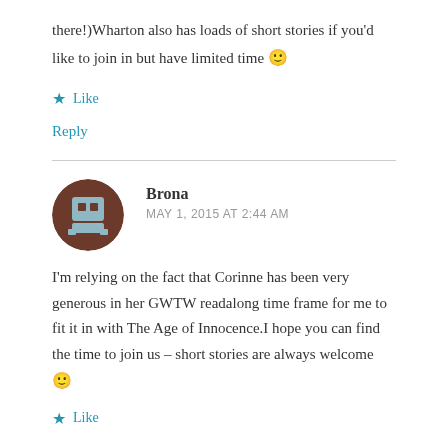there!)Wharton also has loads of short stories if you'd like to join in but have limited time 🙂
Like
Reply
Brona
MAY 1, 2015 AT 2:44 AM
I'm relying on the fact that Corinne has been very generous in her GWTW readalong time frame for me to fit it in with The Age of Innocence.I hope you can find the time to join us – short stories are always welcome 🙂
Like